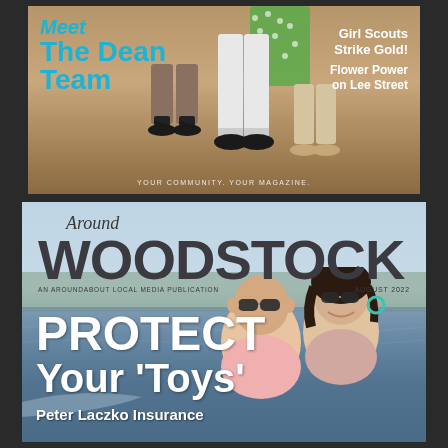[Figure (photo): Top magazine cover showing feet/legs of people standing on wooden floor, with text overlays]
Meet The Dean Team
Girl Scouts Strike Gold!
Flower Power on Lee Street
YOUR COMMUNITY. YOUR MAGAZINE.
[Figure (photo): Bottom Around Woodstock magazine cover, August 2022, showing couple on boat on a lake]
Around WOODSTOCK
AN AROUNDABOUT LOCAL MEDIA PUBLICATION
AUGUST 2022
PROTECT Your 'Toys'
Peter Laczko Insurance